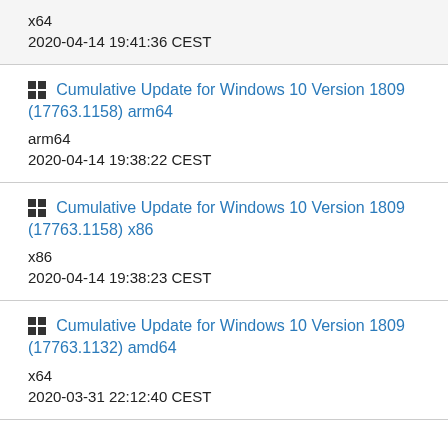x64
2020-04-14 19:41:36 CEST
Cumulative Update for Windows 10 Version 1809 (17763.1158) arm64
arm64
2020-04-14 19:38:22 CEST
Cumulative Update for Windows 10 Version 1809 (17763.1158) x86
x86
2020-04-14 19:38:23 CEST
Cumulative Update for Windows 10 Version 1809 (17763.1132) amd64
x64
2020-03-31 22:12:40 CEST